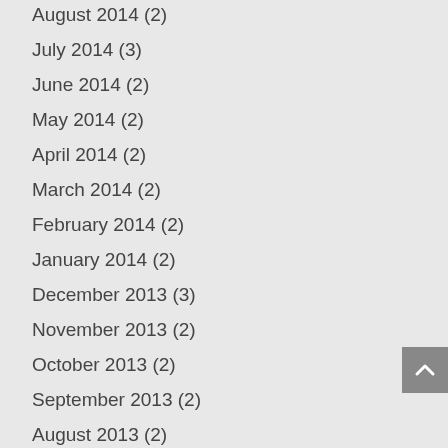August 2014 (2)
July 2014 (3)
June 2014 (2)
May 2014 (2)
April 2014 (2)
March 2014 (2)
February 2014 (2)
January 2014 (2)
December 2013 (3)
November 2013 (2)
October 2013 (2)
September 2013 (2)
August 2013 (2)